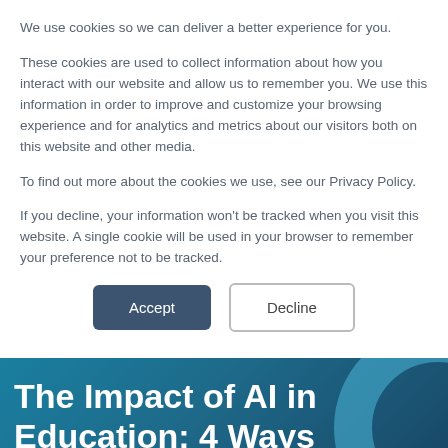We use cookies so we can deliver a better experience for you.
These cookies are used to collect information about how you interact with our website and allow us to remember you. We use this information in order to improve and customize your browsing experience and for analytics and metrics about our visitors both on this website and other media.
To find out more about the cookies we use, see our Privacy Policy.
If you decline, your information won't be tracked when you visit this website. A single cookie will be used in your browser to remember your preference not to be tracked.
[Figure (other): Accept and Decline cookie consent buttons]
The Impact of AI in Education: 4 Ways It Works